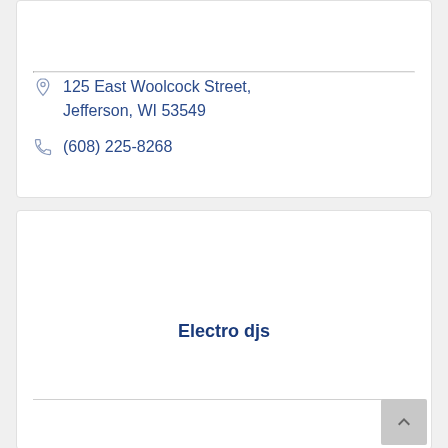125 East Woolcock Street, Jefferson, WI 53549
(608) 225-8268
Electro djs